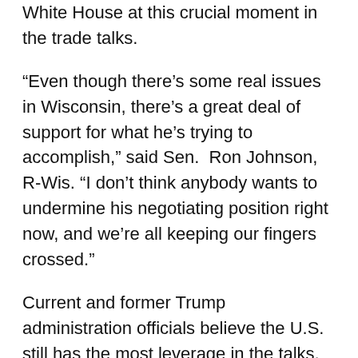White House at this crucial moment in the trade talks.
“Even though there’s some real issues in Wisconsin, there’s a great deal of support for what he’s trying to accomplish,” said Sen. Ron Johnson, R-Wis. “I don’t think anybody wants to undermine his negotiating position right now, and we’re all keeping our fingers crossed.”
Current and former Trump administration officials believe the U.S. still has the most leverage in the talks, saying China needs access to the U.S. market more than the reverse. And even if the talks don’t succeed for Trump, their hope is that